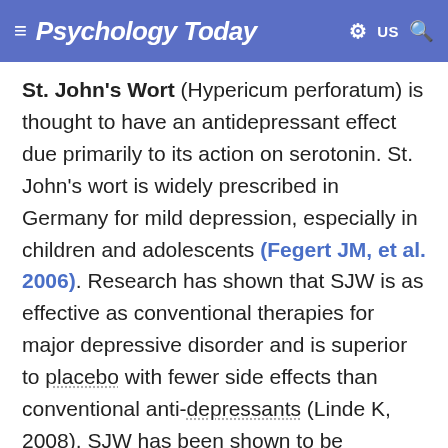Psychology Today — US
St. John's Wort (Hypericum perforatum) is thought to have an antidepressant effect due primarily to its action on serotonin. St. John's wort is widely prescribed in Germany for mild depression, especially in children and adolescents (Fegert JM, et al. 2006). Research has shown that SJW is as effective as conventional therapies for major depressive disorder and is superior to placebo with fewer side effects than conventional anti-depressants (Linde K, 2008). SJW has been shown to be effective for mood, anxiety, and depression-related insomnia.